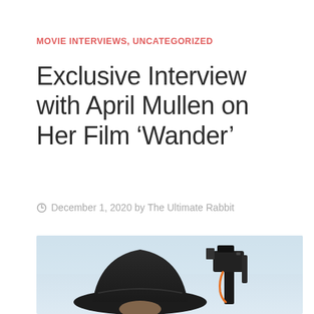MOVIE INTERVIEWS, UNCATEGORIZED
Exclusive Interview with April Mullen on Her Film ‘Wander’
December 1, 2020 by The Ultimate Rabbit
[Figure (photo): A person wearing a black cowboy hat looking down, with a camera rig visible on the right side. Outdoor scene with light blue sky background.]